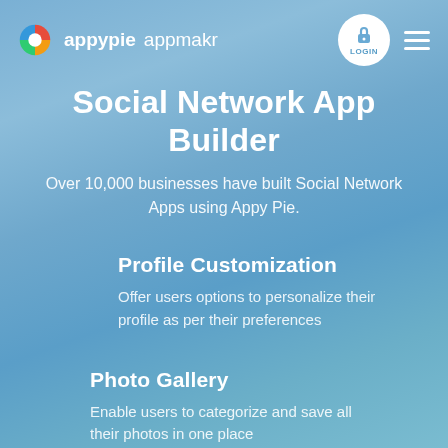appypie appmakr
Social Network App Builder
Over 10,000 businesses have built Social Network Apps using Appy Pie.
Profile Customization
Offer users options to personalize their profile as per their preferences
Photo Gallery
Enable users to categorize and save all their photos in one place